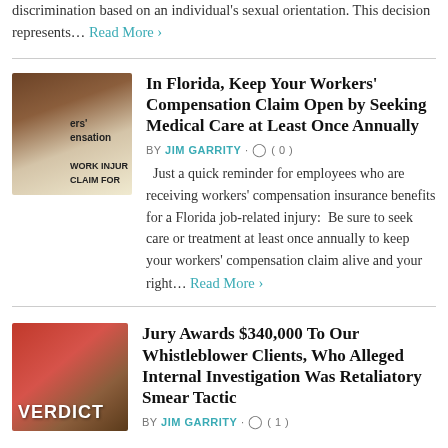discrimination based on an individual's sexual orientation. This decision represents… Read More ›
In Florida, Keep Your Workers' Compensation Claim Open by Seeking Medical Care at Least Once Annually
BY JIM GARRITY · ( 0 )
[Figure (photo): Image of work injury claim form with pen on wooden desk, partially showing text 'ers' compensation' and 'WORK INJURY CLAIM FOR']
Just a quick reminder for employees who are receiving workers' compensation insurance benefits for a Florida job-related injury:  Be sure to seek care or treatment at least once annually to keep your workers' compensation claim alive and your right… Read More ›
Jury Awards $340,000 To Our Whistleblower Clients, Who Alleged Internal Investigation Was Retaliatory Smear Tactic
BY JIM GARRITY · ( 1 )
[Figure (photo): Image of judge's gavel with red 'VERDICT' text overlay in foreground]